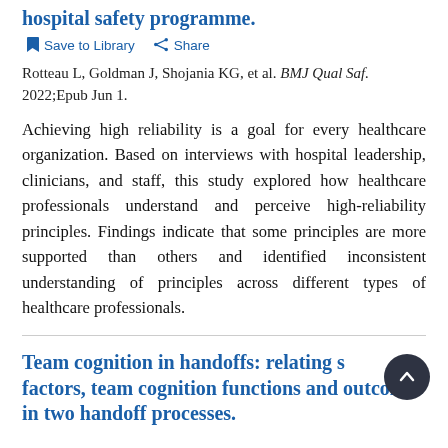hospital safety programme.
Save to Library   Share
Rotteau L, Goldman J, Shojania KG, et al. BMJ Qual Saf. 2022;Epub Jun 1.
Achieving high reliability is a goal for every healthcare organization. Based on interviews with hospital leadership, clinicians, and staff, this study explored how healthcare professionals understand and perceive high-reliability principles. Findings indicate that some principles are more supported than others and identified inconsistent understanding of principles across different types of healthcare professionals.
Team cognition in handoffs: relating system factors, team cognition functions and outcomes in two handoff processes.